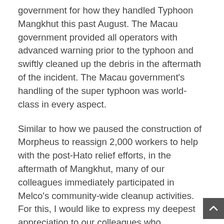government for how they handled Typhoon Mangkhut this past August. The Macau government provided all operators with advanced warning prior to the typhoon and swiftly cleaned up the debris in the aftermath of the incident. The Macau government's handling of the super typhoon was world-class in every aspect.
Similar to how we paused the construction of Morpheus to reassign 2,000 workers to help with the post-Hato relief efforts, in the aftermath of Mangkhut, many of our colleagues immediately participated in Melco's community-wide cleanup activities. For this, I would like to express my deepest appreciation to our colleagues who volunteered to clear the debris and to minimize the typhoon's impact on our local community.
Moving on to our results. During the third quarter of 2018, Melco delivered solid performance provided by